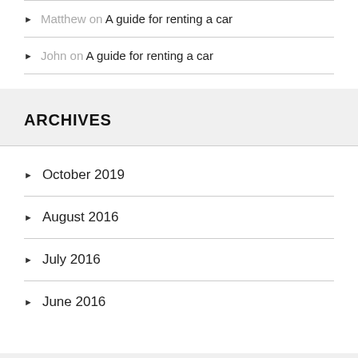Matthew on A guide for renting a car
John on A guide for renting a car
ARCHIVES
October 2019
August 2016
July 2016
June 2016
CATEGORIES